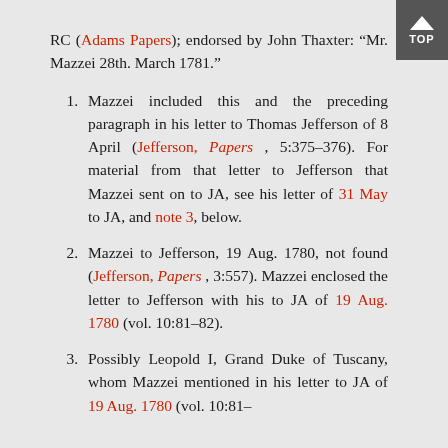RC (Adams Papers); endorsed by John Thaxter: “Mr. Mazzei 28th. March 1781.”
1. Mazzei included this and the preceding paragraph in his letter to Thomas Jefferson of 8 April (Jefferson, Papers, 5:375–376). For material from that letter to Jefferson that Mazzei sent on to JA, see his letter of 31 May to JA, and note 3, below.
2. Mazzei to Jefferson, 19 Aug. 1780, not found (Jefferson, Papers, 3:557). Mazzei enclosed the letter to Jefferson with his to JA of 19 Aug. 1780 (vol. 10:81–82).
3. Possibly Leopold I, Grand Duke of Tuscany, whom Mazzei mentioned in his letter to JA of 19 Aug. 1780 (vol. 10:81–